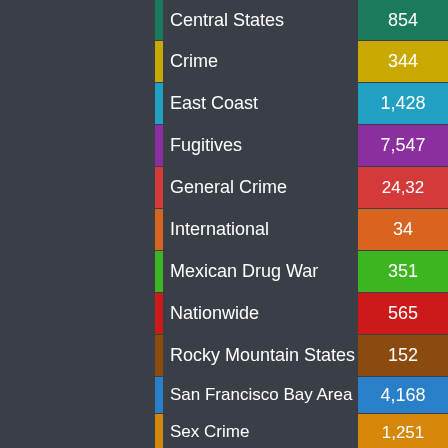[Figure (bar-chart): Categories with counts]